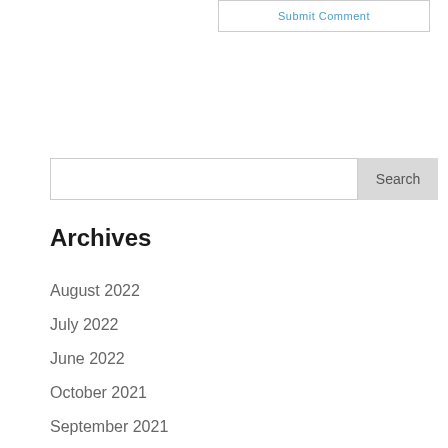[Figure (screenshot): Submit Comment button - blue text link inside a bordered rectangle]
[Figure (screenshot): Search input field with Search button]
Archives
August 2022
July 2022
June 2022
October 2021
September 2021